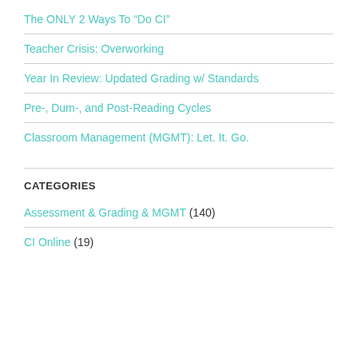The ONLY 2 Ways To “Do CI”
Teacher Crisis: Overworking
Year In Review: Updated Grading w/ Standards
Pre-, Dum-, and Post-Reading Cycles
Classroom Management (MGMT): Let. It. Go.
CATEGORIES
Assessment & Grading & MGMT (140)
CI Online (19)